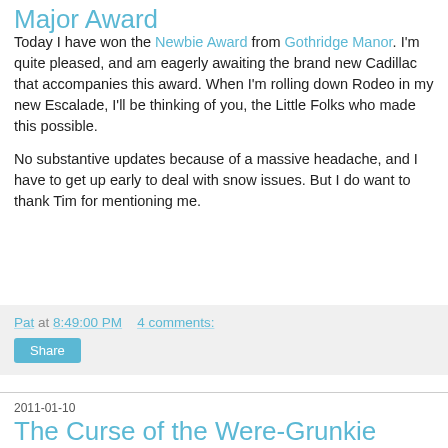Major Award
Today I have won the Newbie Award from Gothridge Manor. I'm quite pleased, and am eagerly awaiting the brand new Cadillac that accompanies this award.  When I'm rolling down Rodeo in my new Escalade, I'll be thinking of you, the Little Folks who made this possible.
No substantive updates because of a massive headache, and I have to get up early to deal with snow issues.  But I do want to thank Tim for mentioning me.
Pat at 8:49:00 PM    4 comments:
Share
2011-01-10
The Curse of the Were-Grunkie
Grunkies on their own are mildly more interesting than giant rats, because players haven't encountered them before, and